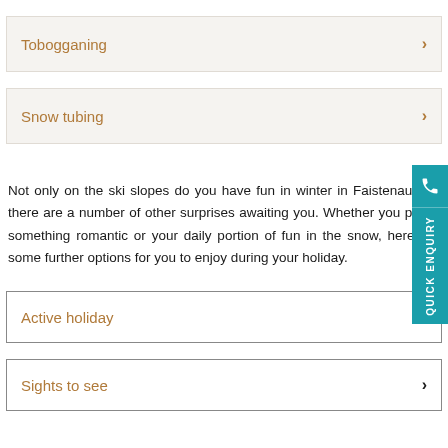Tobogganing >
Snow tubing >
Not only on the ski slopes do you have fun in winter in Faistenau, but there are a number of other surprises awaiting you. Whether you prefer something romantic or your daily portion of fun in the snow, here are some further options for you to enjoy during your holiday.
Active holiday >
Sights to see >